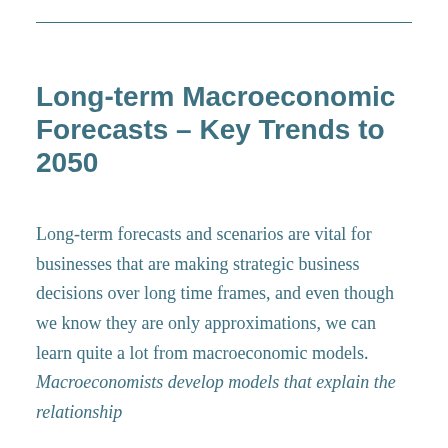Long-term Macroeconomic Forecasts – Key Trends to 2050
Long-term forecasts and scenarios are vital for businesses that are making strategic business decisions over long time frames, and even though we know they are only approximations, we can learn quite a lot from macroeconomic models. Macroeconomists develop models that explain the relationship